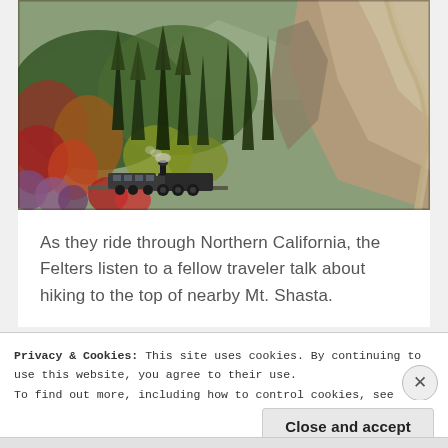[Figure (photo): Vintage photograph of a steam train traveling through a forested mountain canyon in Northern California, with colorful autumn trees and rocky terrain visible. The scene appears to be near Mt. Shasta area.]
As they ride through Northern California, the Felters listen to a fellow traveler talk about hiking to the top of nearby Mt. Shasta.
Privacy & Cookies: This site uses cookies. By continuing to use this website, you agree to their use.
To find out more, including how to control cookies, see here: Cookie Policy
Close and accept